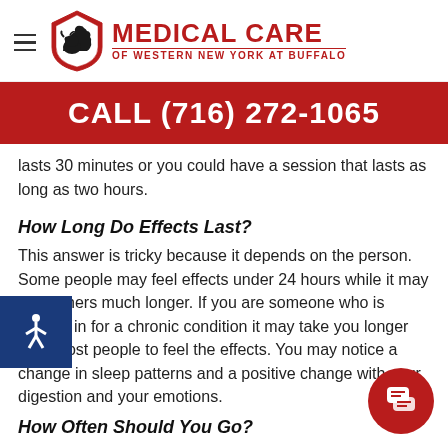[Figure (logo): Medical Care of Western New York at Buffalo logo with bison shield emblem and red text]
CALL (716) 272-1065
lasts 30 minutes or you could have a session that lasts as long as two hours.
How Long Do Effects Last?
This answer is tricky because it depends on the person. Some people may feel effects under 24 hours while it may take others much longer. If you are someone who is coming in for a chronic condition it may take you longer than most people to feel the effects. You may notice a change in sleep patterns and a positive change with your digestion and your emotions.
How Often Should You Go?